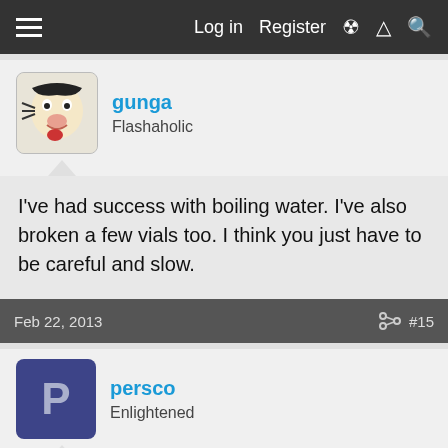Log in  Register
gunga
Flashaholic
I've had success with boiling water. I've also broken a few vials too. I think you just have to be careful and slow.
Feb 22, 2013  #15
persco
Enlightened
Thanks gunga!
Mar 19, 2013  #16
[Figure (screenshot): Advertisement for Peet's Coffee - Peet's Brown Sugar Summer Sips]